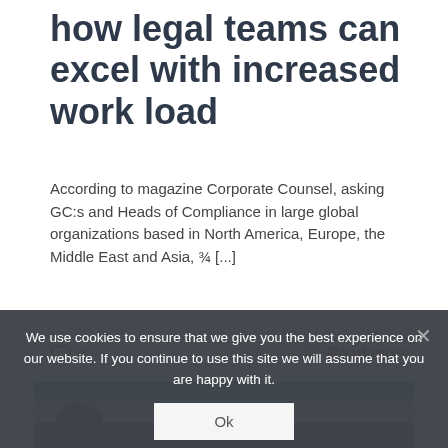how legal teams can excel with increased work load
According to magazine Corporate Counsel, asking GC:s and Heads of Compliance in large global organizations based in North America, Europe, the Middle East and Asia, ¾ [...]
0  |  Read more
[Figure (photo): Partially visible photo of a bald person in dark clothing with a cloudy sky background]
We use cookies to ensure that we give you the best experience on our website. If you continue to use this site we will assume that you are happy with it.
Ok